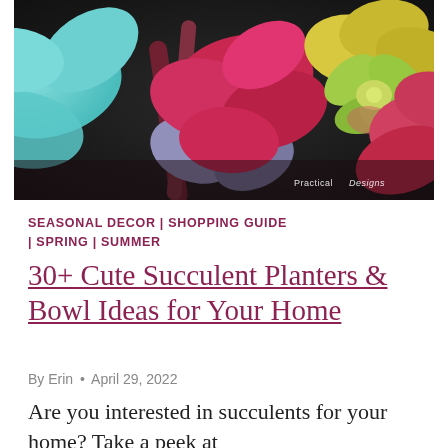[Figure (photo): Close-up photo of colorful succulents and flowers including teal/blue hydrangea petals on the left, red/pink succulent leaves in the center, and a green succulent rosette on the right. A watermark reads 'Practical Designs' in the bottom right corner.]
SEASONAL DECOR | SHOPPING GUIDE | SPRING | SUMMER
30+ Cute Succulent Planters & Bowl Ideas for Your Home
By Erin • April 29, 2022
Are you interested in succulents for your home? Take a peek at the most popular planters to...